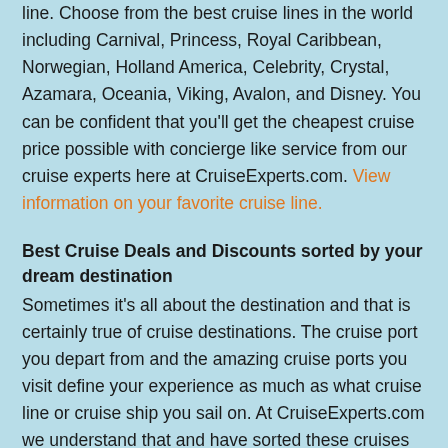line. Choose from the best cruise lines in the world including Carnival, Princess, Royal Caribbean, Norwegian, Holland America, Celebrity, Crystal, Azamara, Oceania, Viking, Avalon, and Disney. You can be confident that you'll get the cheapest cruise price possible with concierge like service from our cruise experts here at CruiseExperts.com. View information on your favorite cruise line.
Best Cruise Deals and Discounts sorted by your dream destination
Sometimes it's all about the destination and that is certainly true of cruise destinations. The cruise port you depart from and the amazing cruise ports you visit define your experience as much as what cruise line or cruise ship you sail on. At CruiseExperts.com we understand that and have sorted these cruises by the places you'll visit on your